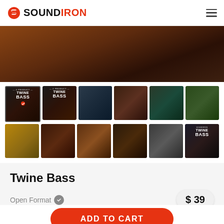Soundiron
[Figure (photo): Hero image showing close-up of a double bass instrument with wooden texture and warm brown tones]
[Figure (photo): Thumbnail row 1: Six product images for Twine Bass including cover art, alternate cover, and software UI screenshots]
[Figure (photo): Thumbnail row 2: Six close-up photos of the double bass instrument from various angles, plus album/box art]
Twine Bass
Open Format
$ 39
ADD TO CART